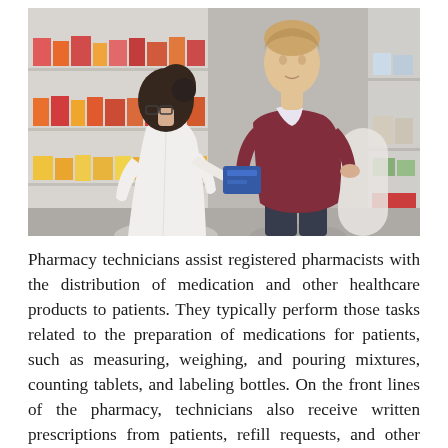[Figure (photo): A pharmacy technician in a white lab coat speaking with a male customer holding a blue medication package, with pharmacy shelves stocked with products visible in the background.]
Pharmacy technicians assist registered pharmacists with the distribution of medication and other healthcare products to patients. They typically perform those tasks related to the preparation of medications for patients, such as measuring, weighing, and pouring mixtures, counting tablets, and labeling bottles. On the front lines of the pharmacy, technicians also receive written prescriptions from patients, refill requests, and other assistance from the physician's office...